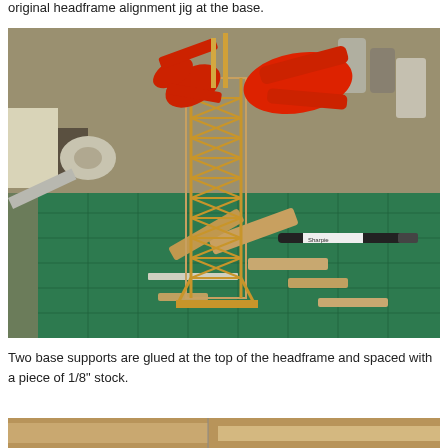original headframe alignment jig at the base.
[Figure (photo): A model wooden headframe tower (lattice/truss structure) being assembled on a craft mat, held together with large red spring clamps. Scattered around the model are craft sticks, small wood pieces, a Sharpie marker, and various bottles and supplies on a worktable.]
Two base supports are glued at the top of the headframe and spaced with a piece of 1/8" stock.
[Figure (photo): Partial view of another photo showing a wooden model construction scene (bottom strip only visible).]